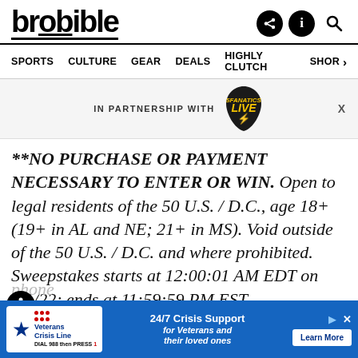brobible
SPORTS  CULTURE  GEAR  DEALS  HIGHLY CLUTCH  SHOP
[Figure (screenshot): IN PARTNERSHIP WITH [Live Nation Live logo - guitar pick shape in black with yellow LIVE text and lightning bolt]  X]
**NO PURCHASE OR PAYMENT NECESSARY TO ENTER OR WIN. Open to legal residents of the 50 U.S. / D.C., age 18+ (19+ in AL and NE; 21+ in MS). Void outside of the 50 U.S. / D.C. and where prohibited. Sweepstakes starts at 12:00:01 AM EDT on 7/1/22; ends at 11:59:59 PM EST on 9/30/22. To enter without purchase, hand-print your name, complete address, email address and phone [...]  that sheet [...] The
[Figure (screenshot): Veterans Crisis Line advertisement banner - blue background with logo, 24/7 Crisis Support for Veterans and their loved ones, Learn More button, DIAL 988 then PRESS 1]